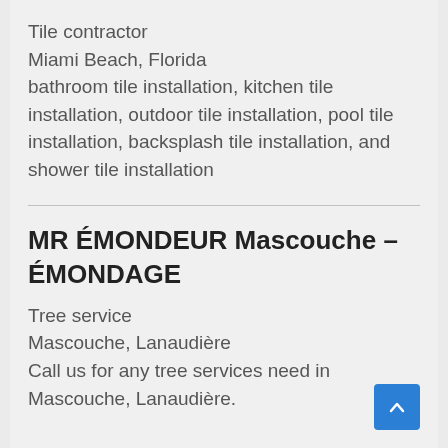Tile contractor
Miami Beach, Florida
bathroom tile installation, kitchen tile installation, outdoor tile installation, pool tile installation, backsplash tile installation, and shower tile installation
MR ÉMONDEUR Mascouche – ÉMONDAGE
Tree service
Mascouche, Lanaudière
Call us for any tree services need in Mascouche, Lanaudière.